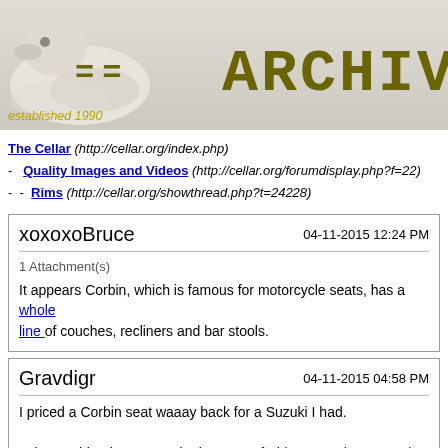[Figure (screenshot): Website header banner with a bird/duck image on the left, '==' symbol in olive/dark yellow, and 'ARCHIV' text in large typewriter-style font on the right. 'established 1990' in italic yellow text at the bottom left.]
The Cellar (http://cellar.org/index.php)
- Quality Images and Videos (http://cellar.org/forumdisplay.php?f=22)
- - Rims (http://cellar.org/showthread.php?t=24228)
| xoxoxoBruce | 04-11-2015 12:24 PM |
| 1 Attachment(s)
It appears Corbin, which is famous for motorcycle seats, has a whole line of couches, recliners and bar stools. |
| Gravdigr | 04-11-2015 04:58 PM |
| I priced a Corbin seat waaay back for a Suzuki I had.

I almost shit. They're a tad pricey, I'm afraid to see what a couch from them costs. |